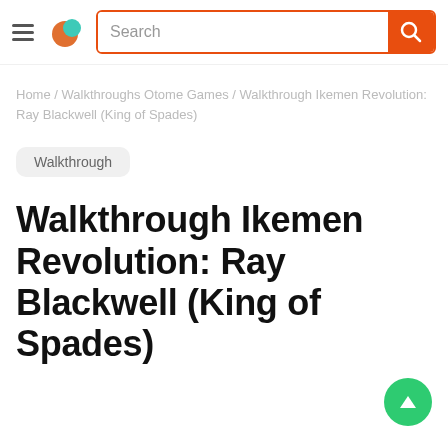Search
Home / Walkthroughs Otome Games / Walkthrough Ikemen Revolution: Ray Blackwell (King of Spades)
Walkthrough
Walkthrough Ikemen Revolution: Ray Blackwell (King of Spades)